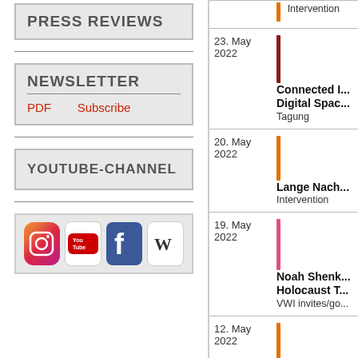PRESS REVIEWS
NEWSLETTER
PDF   Subscribe
YOUTUBE-CHANNEL
[Figure (other): Social media icons: Instagram, YouTube, Facebook, Wikipedia]
| Date | Event |
| --- | --- |
|  | Intervention |
| 23. May 2022 | Connected I... Digital Spac...
Tagung |
| 20. May 2022 | Lange Nach...
Intervention |
| 19. May 2022 | Noah Shenk... Holocaust T...
VWI invites/go... |
| 12. May 2022 | Irene Messin... Vernichtung...
rÆson_anzen... |
| 10. May 2022 | Péter Apor:... Political Tra...
VWI invites/go... |
| 09. May 2022 | Ines Koeltzs... Balanced... |